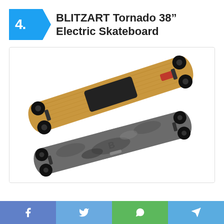4. BLITZART Tornado 38" Electric Skateboard
[Figure (photo): Two BLITZART Tornado 38 inch electric skateboards shown from different angles — one showing the bottom with wooden deck and black motor, one showing the top with camouflage grey grip tape]
Social share bar with Facebook, Twitter, WhatsApp, Telegram icons